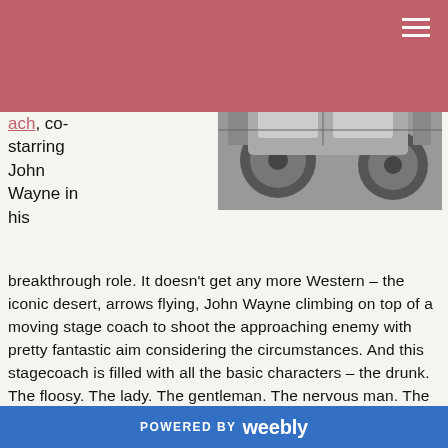ach, co-starring
[Figure (photo): Black and white photograph of a stagecoach interior/exterior detail, showing mechanical parts and wheels]
John Wayne in his breakthrough role. It doesn’t get any more Western – the iconic desert, arrows flying, John Wayne climbing on top of a moving stage coach to shoot the approaching enemy with pretty fantastic aim considering the circumstances. And this stagecoach is filled with all the basic characters – the drunk. The floosy. The lady. The gentleman. The nervous man. The sheriff named Curly. The blowhard. The funny driver. And, of course, John Wayne. If all those crammed in a stagecoach doesn’t make you need a drink, then they also have a lengthy saloon scene at the end. See, the scene with the Apaches chasing the stagecoach wasn’t the real showdown. John Wayne – a.k.a. Ringo Kid – has revenge on his mind and it’s directed at the man in the black hat playing cards at the saloon in bold move. The card scene climaxes at the bar with
POWERED BY weebly